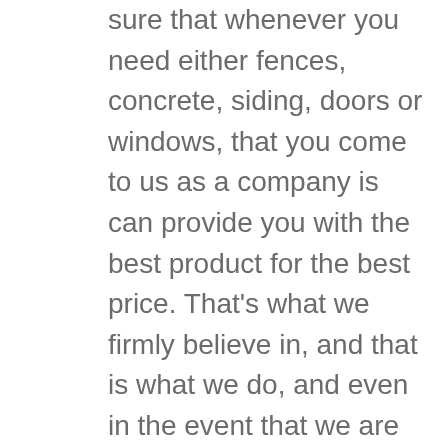sure that whenever you need either fences, concrete, siding, doors or windows, that you come to us as a company is can provide you with the best product for the best price. That's what we firmly believe in, and that is what we do, and even in the event that we are not the best price, we still will be willing to meet or beat any best prices on these products. We been providing the services since 2014, and as a veteran owned property company, we are proud to serve Amarillo, and we are going to build to provide you with the best product, service, and installation whenever you need us.